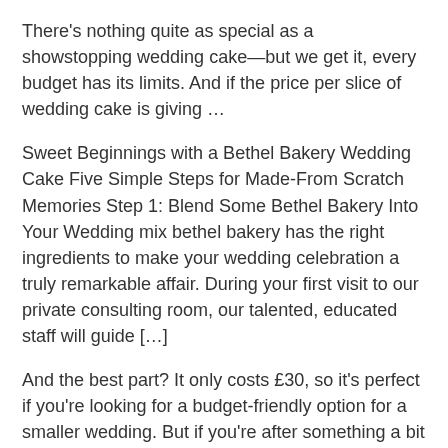There's nothing quite as special as a showstopping wedding cake—but we get it, every budget has its limits. And if the price per slice of wedding cake is giving …
Sweet Beginnings with a Bethel Bakery Wedding Cake Five Simple Steps for Made-From Scratch Memories Step 1: Blend Some Bethel Bakery Into Your Wedding mix bethel bakery has the right ingredients to make your wedding celebration a truly remarkable affair. During your first visit to our private consulting room, our talented, educated staff will guide […]
And the best part? It only costs £30, so it's perfect if you're looking for a budget-friendly option for a smaller wedding. But if you're after something a bit bigger, Waitrose and M&S also make …
Budget Wedding Cakes Ireland 50 S Wedding Cakes Wedding cakes tampa florida Find the best tampa wedding cakes. weddingwire offers reviews, prices and availability for 105 Wedding Cakes in Tampa. Pricing & Specials / Lista de Precios y Especiales We offer wholesale for business, and deliver in the tampa bay area. For the past 40 years, the Florida Bakery
Cake in A Box Cakes Glasgow have a wide range of Wedding cakes Glasgow and birthday cakes with lots of brilliant designs with